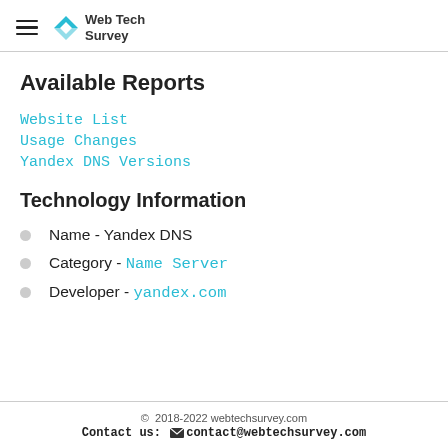Web Tech Survey
Available Reports
Website List
Usage Changes
Yandex DNS Versions
Technology Information
Name - Yandex DNS
Category - Name Server
Developer - yandex.com
© 2018-2022 webtechsurvey.com
Contact us: contact@webtechsurvey.com